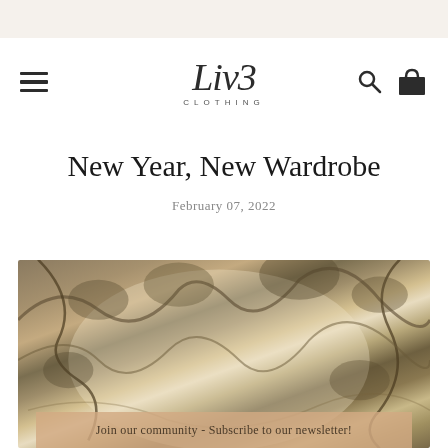[Figure (logo): Liv3 Clothing logo with stylized script text and CLOTHING subtitle]
New Year, New Wardrobe
February 07, 2022
[Figure (photo): Outdoor nature photo showing trees with moss and branches against a light sky, warm earthy tones]
Join our community - Subscribe to our newsletter!